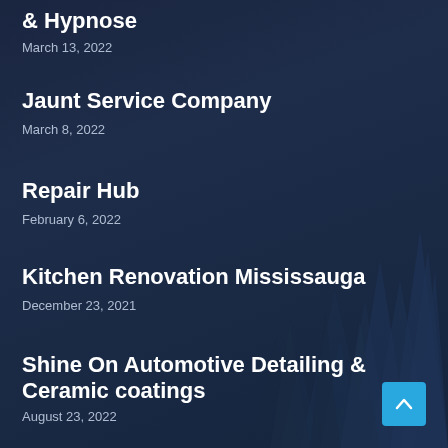& Hypnose
March 13, 2022
Jaunt Service Company
March 8, 2022
Repair Hub
February 6, 2022
Kitchen Renovation Mississauga
December 23, 2021
Shine On Automotive Detailing & Ceramic coatings
August 23, 2022